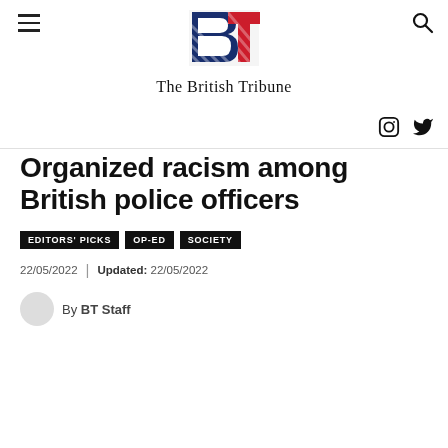The British Tribune
[Figure (logo): The British Tribune logo with stylized BT letters in blue and red diagonal stripes, and publication name below]
Organized racism among British police officers
EDITORS' PICKS
OP-ED
SOCIETY
22/05/2022  |  Updated: 22/05/2022
By BT Staff